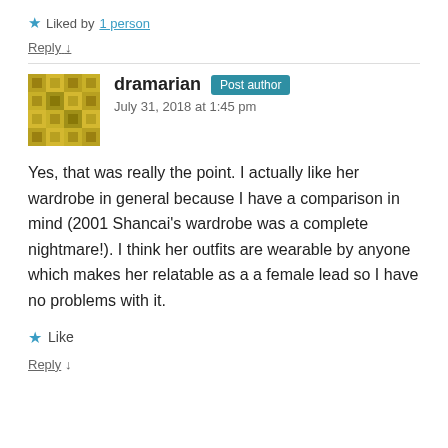★ Liked by 1 person
Reply ↓
dramarian Post author
July 31, 2018 at 1:45 pm
Yes, that was really the point. I actually like her wardrobe in general because I have a comparison in mind (2001 Shancai's wardrobe was a complete nightmare!). I think her outfits are wearable by anyone which makes her relatable as a a female lead so I have no problems with it.
★ Like
Reply ↓